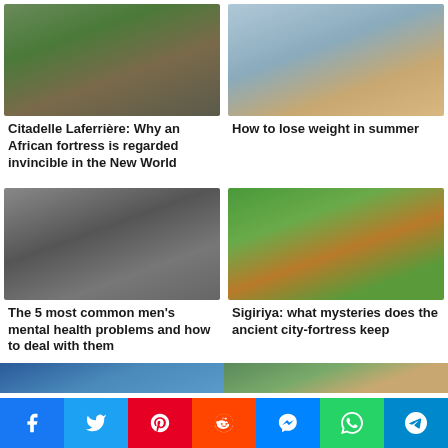[Figure (photo): Citadelle Laferrière fortress on a mountain top surrounded by green hills]
Citadelle Laferrière: Why an African fortress is regarded invincible in the New World
[Figure (photo): Man exercising outdoors on gymnastics bars]
How to lose weight in summer
[Figure (photo): Man holding his head in stress with chaotic lines in background]
The 5 most common men's mental health problems and how to deal with them
[Figure (photo): Aerial view of Sigiriya rock fortress surrounded by jungle]
Sigiriya: what mysteries does the ancient city-fortress keep